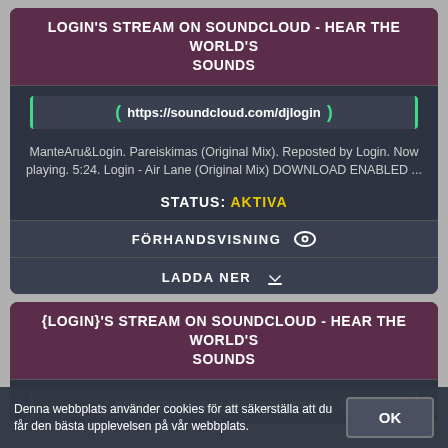LOGIN'S STREAM ON SOUNDCLOUD - HEAR THE WORLD'S SOUNDS
https://soundcloud.com/djlogin
ManteAru&Login. Pareiskimas (Original Mix). Reposted by Login. Now playing. 5:24. Login - Air Lane (Original Mix) DOWNLOAD ENABLED ...
STATUS: AKTIVA
FÖRHANDSVISNING
LADDA NER
{LOGIN}'S STREAM ON SOUNDCLOUD - HEAR THE WORLD'S SOUNDS
https://soundcloud.com/login_sounds
Denna webbplats använder cookies för att säkerställa att du får den bästa upplevelsen på vår webbplats.